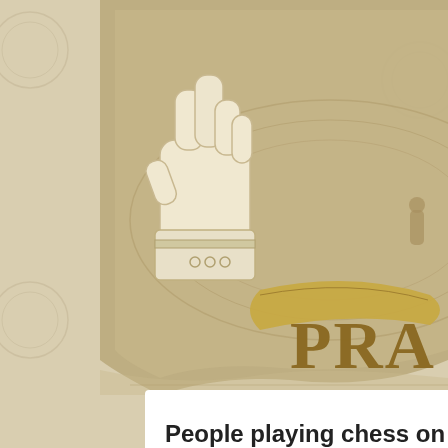[Figure (illustration): Decorative website header banner with tan/khaki background showing a hand with crossed fingers illustration, decorative scrollwork, birds, and text reading 'THE ART' and 'PRA' (partial, cropped). Vintage style illustration on beige/tan background.]
People playing chess on roller coasters
by Charlie Todd
Filed under: Art Pranks, Pranksters
Submitted by Charlie Todd: Here's a fun, simple prank idea inspired by Randall Munroe from xkcd.com:
[Figure (illustration): Comic strip panel with handwritten-style text. Top line: 'WHAT ARE YOU DOING?' Below with a vertical pipe/line: 'GLUING DOWN CHESS PIEC' (cropped)]